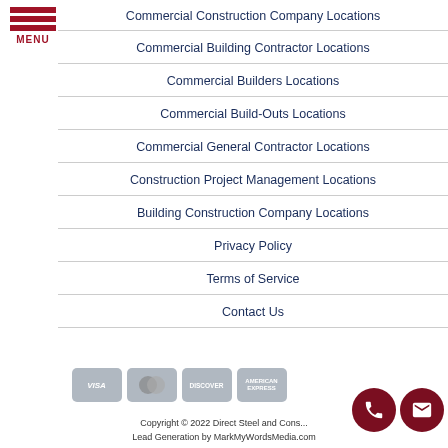[Figure (other): Hamburger menu icon with three red horizontal bars and MENU label]
Commercial Construction Company Locations
Commercial Building Contractor Locations
Commercial Builders Locations
Commercial Build-Outs Locations
Commercial General Contractor Locations
Construction Project Management Locations
Building Construction Company Locations
Privacy Policy
Terms of Service
Contact Us
[Figure (other): Payment card icons: Visa, Mastercard, Discover, American Express]
Copyright © 2022 Direct Steel and Cons...
Lead Generation by MarkMyWordsMedia.com